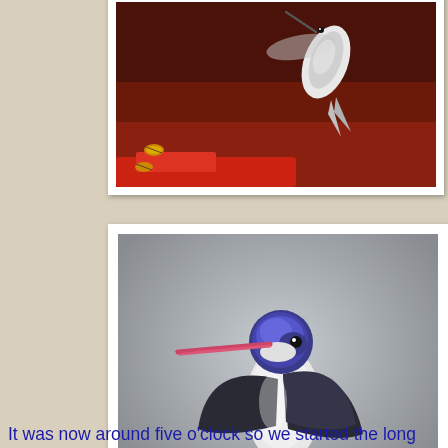[Figure (photo): Top partial photo of a hummingbird near a red feeder with bees, dark brown/red background, bird visible from below mid-section]
[Figure (photo): Photo of a Violet-crowned Hummingbird perched on a red hummingbird feeder, showing its distinctive violet/blue crown, long pink bill, white chest, and dark wings against a grey background]
Violet-crowned Hummingbirds from internet
It was now around five o'clock so we started the long